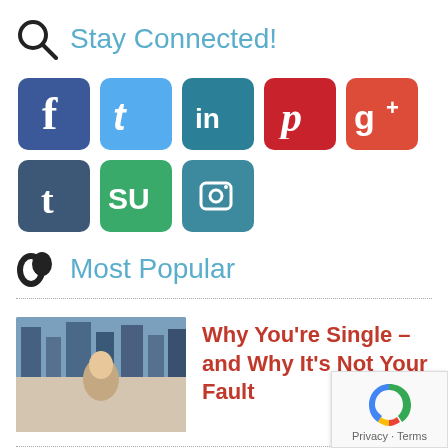Stay Connected!
[Figure (infographic): Row of social media icons: Facebook (blue), Twitter (light blue), LinkedIn (teal), Pinterest (red), Google+ (red), Tumblr (dark blue-grey), StumbleUpon (green), and Instagram (teal) icon buttons]
Most Popular
[Figure (photo): Woman sitting by a window with a city skyline, looking at a tablet or phone]
Why You’re Single – and Why It’s Not Your Fault
[Figure (illustration): Red circle-slash no symbol over text, Anti-Valentine's Day image]
Anti-Valentine’s Day